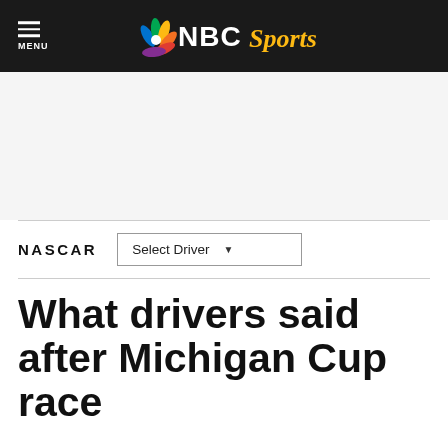NBC Sports
NASCAR
What drivers said after Michigan Cup race
By Dustin Long   Aug 22, 2021, 7:37 PM EDT